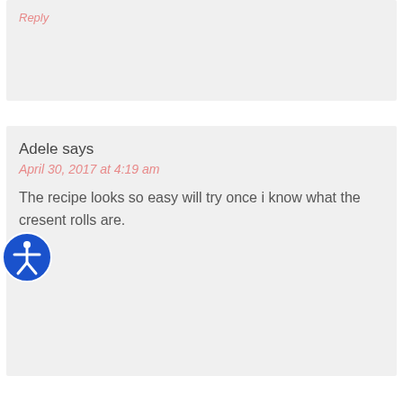Reply
Adele says
April 30, 2017 at 4:19 am
The recipe looks so easy will try once i know what the cresent rolls are.
Reply